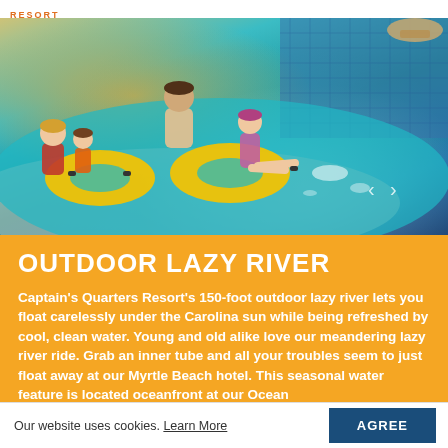RESORT
[Figure (photo): Family floating on yellow inner tubes in a resort lazy river pool with turquoise water. A man, woman, and two children are visible. Navigation arrows (< >) are visible on the right side of the photo.]
OUTDOOR LAZY RIVER
Captain's Quarters Resort's 150-foot outdoor lazy river lets you float carelessly under the Carolina sun while being refreshed by cool, clean water. Young and old alike love our meandering lazy river ride. Grab an inner tube and all your troubles seem to just float away at our Myrtle Beach hotel. This seasonal water feature is located oceanfront at our Ocean
Our website uses cookies. Learn More  AGREE